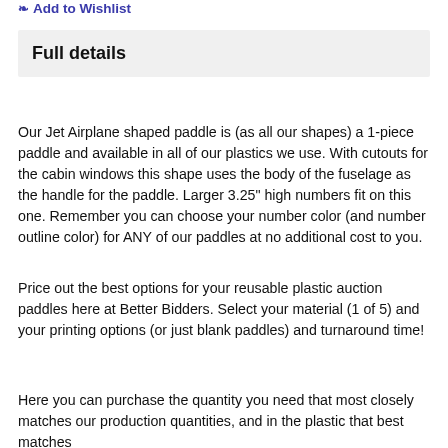Add to Wishlist
Full details
Our Jet Airplane shaped paddle is (as all our shapes) a 1-piece paddle and available in all of our plastics we use.  With cutouts for the cabin windows this shape uses the body of the fuselage as the handle for the paddle.  Larger 3.25" high numbers fit on this one.  Remember you can choose your number color (and number outline color) for ANY of our paddles at no additional cost to you.
Price out the best options for your reusable plastic auction paddles here at Better Bidders.  Select your material (1 of 5) and your printing options (or just blank paddles) and turnaround time!
Here you can purchase the quantity you need that most closely matches our production quantities, and in the plastic that best matches